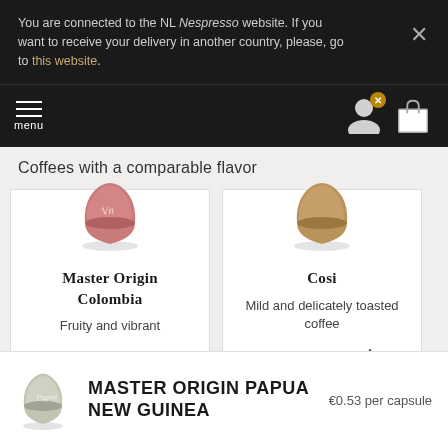You are connected to the NL Nespresso website. If you want to receive your delivery in another country, please, go to this website.
Coffees with a comparable flavor
[Figure (photo): Pink/rose Nespresso capsule for Master Origin Colombia]
Master Origin Colombia
Fruity and vibrant
Coffee intensity 6
[Figure (photo): Bronze/gold Nespresso capsule for Cosi]
Cosi
Mild and delicately toasted coffee
Coffee intensity 4
[Figure (photo): Silver/green Nespresso capsule for Master Origin Papua New Guinea]
MASTER ORIGIN PAPUA NEW GUINEA
€0.53 per capsule